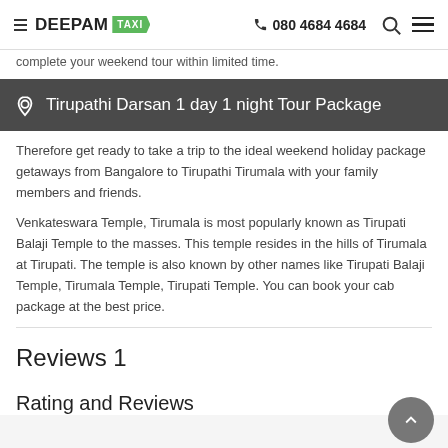DEEPAM TAXI | 080 4684 4684
complete your weekend tour within limited time.
Tirupathi Darsan 1 day 1 night Tour Package
Therefore get ready to take a trip to the ideal weekend holiday package getaways from Bangalore to Tirupathi Tirumala with your family members and friends.
Venkateswara Temple, Tirumala is most popularly known as Tirupati Balaji Temple to the masses. This temple resides in the hills of Tirumala at Tirupati. The temple is also known by other names like Tirupati Balaji Temple, Tirumala Temple, Tirupati Temple. You can book your cab package at the best price.
Reviews 1
Rating and Reviews